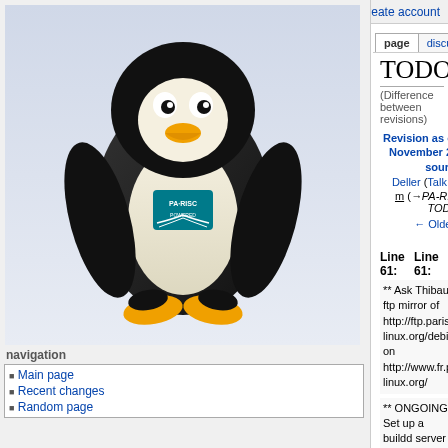Log in / create account
page | discussion | view source | history
[Figure (illustration): Tux the Linux penguin with PA-RISC Powered logo on chest, seated on grey background]
navigation
Main page
Recent changes
Random page
search
tools
What links here
Related changes
Special pages
Printable version
Permanent link
TODO
(Difference between revisions)
| Revision as of 21:49, 10 November 2013 (view source) | Revision as of 22:25, 10 November 2013 (view source) |
| --- | --- |
| Deller (Talk | contribs) | Deller (Talk | contribs) |
| m (→PA-RISC Linux TODO) | m (→PA-RISC Linux TODO (actually this is Helge's TODO list)) |
| ← Older edit | Newer edit → |
Line 61:
** Ask Thibaut to add ftp mirror of http://ftp.parisc-linux.org/debian_ports on http://www.fr.parisc-linux.org/
** ONGOING: Set up a buildd server for debian-ports/unstable